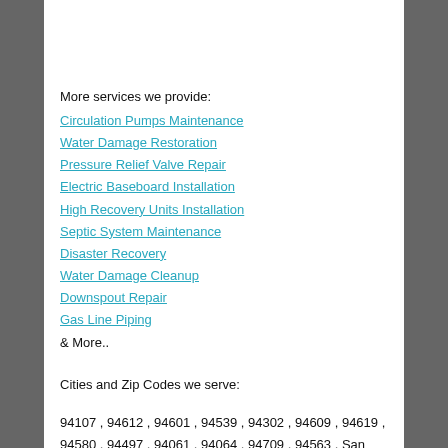More services we provide:
Circulation Pumps Maintenance
Water Damage Restoration
Pressure Relief Valve Repair
Electric Baseboard Installation
High Recovery Units Installation
Septic System Maintenance
Disaster Recovery
Water Damage Cleanup
Downspout Repair
Gas Line Piping
& More..
Cities and Zip Codes we serve:
94107 , 94612 , 94601 , 94539 , 94302 , 94609 , 94619 , 94580 , 94497 , 94061 , 94064 , 94709 , 94563 , San